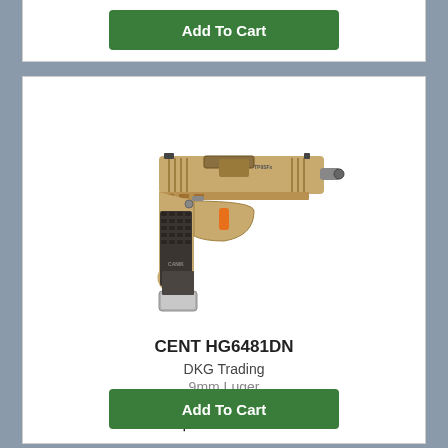[Figure (other): Partial product card top with Add To Cart button visible at top of page]
[Figure (photo): Tan/FDE colored semi-automatic pistol (Canik TP9 series) with extended magazine, threaded barrel, viewed from left side at slight angle]
CENT HG6481DN
DKG Trading
9mm Luger
$699.99
Add To Cart